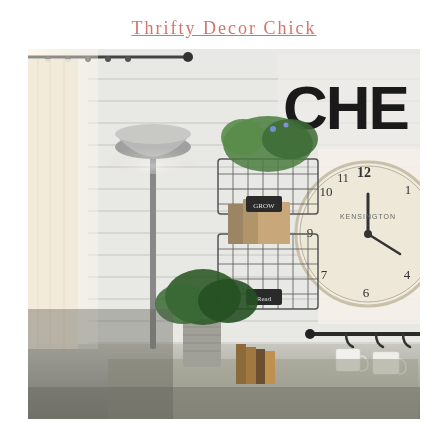Thrifty Decor Chick
[Figure (photo): Interior farmhouse-style room with shiplap white walls. A gray floor lamp hangs from left. Wire wall baskets hold plants and magazines. A large vintage clock on the right wall shows approximately 1:50. A black rod with hanging white mugs is on the lower right. A potted plant and books sit on a surface in the foreground.]